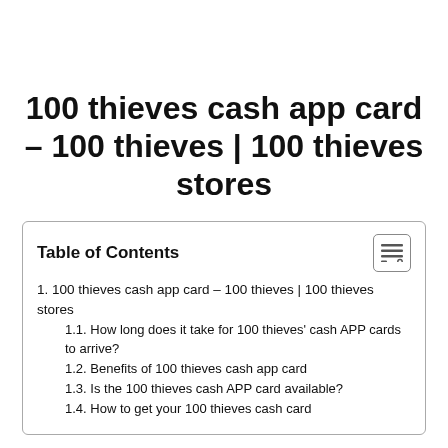100 thieves cash app card – 100 thieves | 100 thieves stores
| Table of Contents |
| --- |
| 1. 100 thieves cash app card – 100 thieves | 100 thieves stores |
| 1.1. How long does it take for 100 thieves' cash APP cards to arrive? |
| 1.2. Benefits of 100 thieves cash app card |
| 1.3. Is the 100 thieves cash APP card available? |
| 1.4. How to get your 100 thieves cash card |
100 thieves one of the best online shopping platforms...